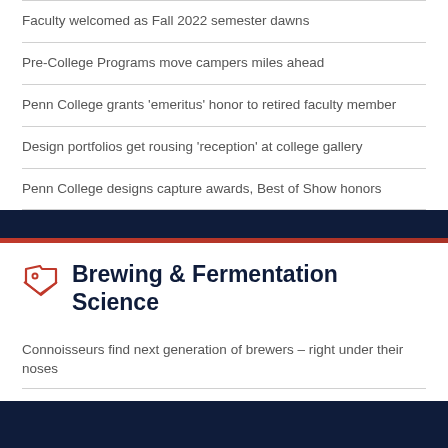Faculty welcomed as Fall 2022 semester dawns
Pre-College Programs move campers miles ahead
Penn College grants 'emeritus' honor to retired faculty member
Design portfolios get rousing 'reception' at college gallery
Penn College designs capture awards, Best of Show honors
Brewing & Fermentation Science
Connoisseurs find next generation of brewers – right under their noses